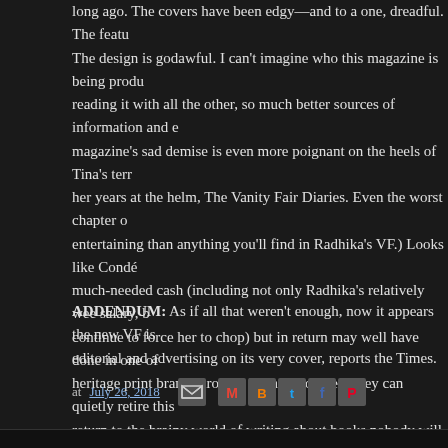long ago. The covers have been edgy—and to a one, dreadful. The featu The design is godawful. I can't imagine who this magazine is being produ reading it with all the other, so much better sources of information and e magazine's sad demise is even more poignant on the heels of Tina's terr her years at the helm, The Vanity Fair Diaries. Even the worst chapter o entertaining than anything you'll find in Radhika's VF.) Looks like Condé much-needed cash (including not only Radhika's relatively wee salary, b continue to force her to chop) but in return may well have done in one of heritage print brands around. It's not too late—they can quietly retire this return to the brainy world of writing about books nobody will ever read o adept at, and get a real star of an editor in there, maybe Janice or maybe passing month that they let this experiment drag on is another that VF lo urgently, once-loyal readers. The trend is not irreversible—yet. But not w up by an editor who's clearly in way over her head. Truly visionary and ta owners of media companies may not think it, are an extremely rare thing you get what you pay for.
ADDENDUM: As if all that weren't enough, now it appears the new VF is editorial and advertising on its very cover, reports the Times.
at July 26, 2018